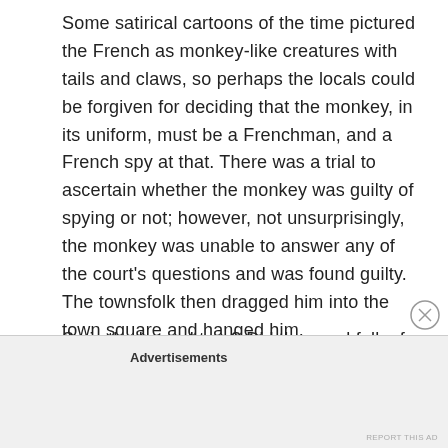Some satirical cartoons of the time pictured the French as monkey-like creatures with tails and claws, so perhaps the locals could be forgiven for deciding that the monkey, in its uniform, must be a Frenchman, and a French spy at that. There was a trial to ascertain whether the monkey was guilty of spying or not; however, not unsurprisingly, the monkey was unable to answer any of the court's questions and was found guilty. The townsfolk then dragged him into the town square and hanged him.
So is the legend true? Did the good folk of Hartlepool REALLY hang a poor defenceless monkey?
Advertisements